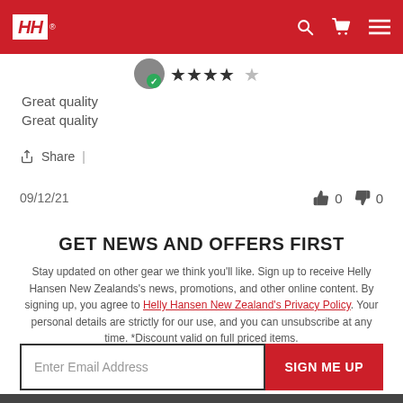[Figure (logo): Helly Hansen HH logo in white on red header bar with search, cart, and menu icons]
[Figure (other): User avatar circle with green checkmark and 5 star rating icons]
Great quality
Great quality
Share |
09/12/21   👍 0   👎 0
GET NEWS AND OFFERS FIRST
Stay updated on other gear we think you'll like. Sign up to receive Helly Hansen New Zealands's news, promotions, and other online content. By signing up, you agree to Helly Hansen New Zealand's Privacy Policy. Your personal details are strictly for our use, and you can unsubscribe at any time. *Discount valid on full priced items.
Enter Email Address  SIGN ME UP